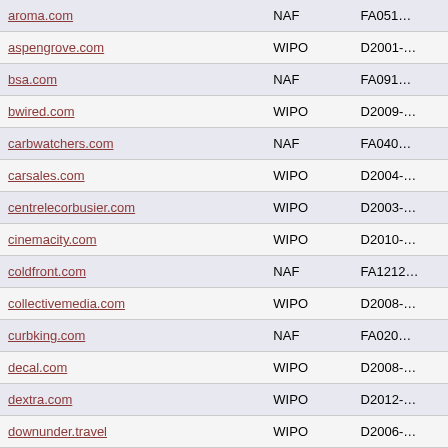| Domain | Forum | Case Number |
| --- | --- | --- |
| aroma.com | NAF | FA051… |
| aspengrove.com | WIPO | D2001-… |
| bsa.com | NAF | FA091… |
| bwired.com | WIPO | D2009-… |
| carbwatchers.com | NAF | FA040… |
| carsales.com | WIPO | D2004-… |
| centrelecorbusier.com | WIPO | D2003-… |
| cinemacity.com | WIPO | D2010-… |
| coldfront.com | NAF | FA1212… |
| collectivemedia.com | WIPO | D2008-… |
| curbking.com | NAF | FA020… |
| decal.com | WIPO | D2008-… |
| dextra.com | WIPO | D2012-… |
| downunder.travel | WIPO | D2006-… |
| dreamgirls.com | WIPO | D2006-… |